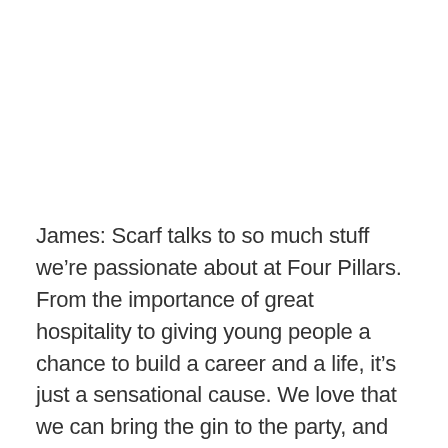James: Scarf talks to so much stuff we're passionate about at Four Pillars. From the importance of great hospitality to giving young people a chance to build a career and a life, it's just a sensational cause. We love that we can bring the gin to the party, and we were thrilled to be able to make Scarf one of the causes supported by our Four Pillars of the Community